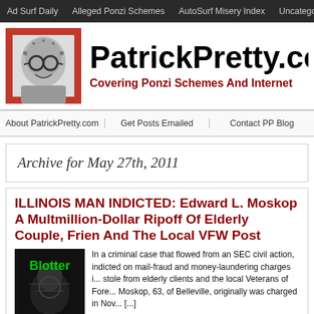Ad Surf Daily | Alleged Ponzi Schemes | AutoSurf Misery Index | Uncategorized
[Figure (logo): PatrickPretty.com site header with illustrated logo portrait and site title]
About PatrickPretty.com | Get Posts Emailed | Contact PP Blog
Archive for May 27th, 2011
ILLINOIS MAN INDICTED: Edward L. Moskop Accused In Multmillion-Dollar Ripoff Of Elderly Couple, Friends And The Local VFW Post
[Figure (illustration): Blotter image with green text 'Blotter' on dark background]
In a criminal case that flowed from an SEC civil action, indicted on mail-fraud and money-laundering charges i... stole from elderly clients and the local Veterans of Fore... Moskop, 63, of Belleville, originally was charged in Nov... [...]